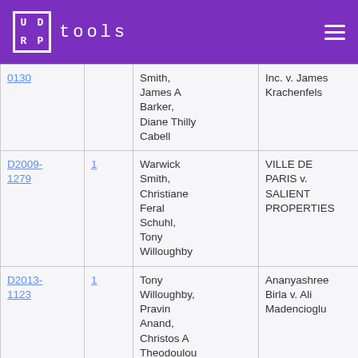UD RP tools
| Case | # | Panelists | Case Name | Domain |
| --- | --- | --- | --- | --- |
| 0130 |  | Smith, James A Barker, Diane Thilly Cabell | Inc. v. James Krachenfels | wifiparis.co... |
| D2009-1279 | 1 | Warwick Smith, Christiane Feral Schuhl, Tony Willoughby | VILLE DE PARIS v. SALIENT PROPERTIES | wifiparis.co... |
| D2013-1123 | 1 | Tony Willoughby, Pravin Anand, Christos A Theodoulou | Ananyashree Birla v. Ali Madencioglu | ananyashr... |